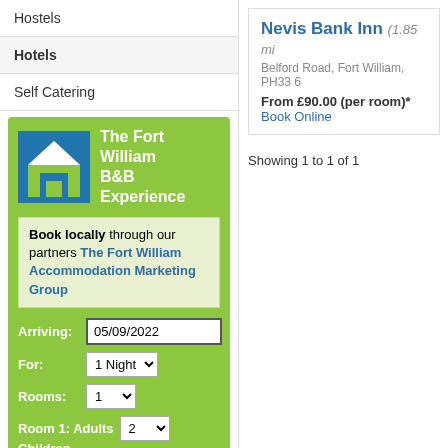Hostels
Hotels
Self Catering
[Figure (logo): The Fort William B&B Experience logo - blue square with white house icon]
The Fort William B&B Experience
Book locally through our partners The Fort William Accommodation Marketing Group
Arriving: 05/09/2022
For: 1 Night
Rooms: 1
Room 1: Adults 2 Children 0
Search Accommodation
Nevis Bank Inn (1.85 mi)
Belford Road, Fort William, PH33 6
From £90.00 (per room)*
Book Online
Showing 1 to 1 of 1